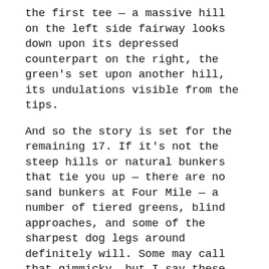the first tee — a massive hill on the left side fairway looks down upon its depressed counterpart on the right, the green's set upon another hill, its undulations visible from the tips.
And so the story is set for the remaining 17. If it's not the steep hills or natural bunkers that tie you up — there are no sand bunkers at Four Mile — a number of tiered greens, blind approaches, and some of the sharpest dog legs around definitely will. Some may call that gimmicky, but I say these holes present unique challenges sure to keep you pleasantly surprised from start to finish. Every course is different, Four Mile just makes it a point to stand out.
This is not a beginners course, definitely catering to average and intermediate players. A handful of